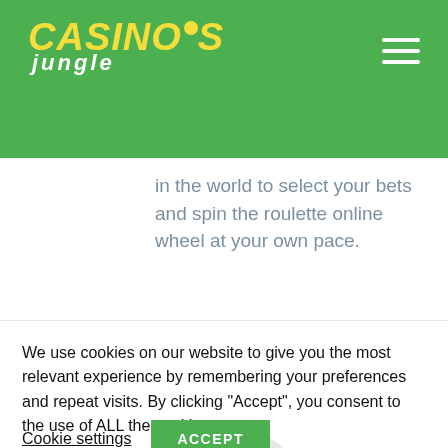Casinos Jungle
in the world to select your bets and spin the roulette online wheel at your own pace.
[Figure (illustration): Cartoon illustration of a woman wearing an orange wide-brim hat, reading a document/paper, cropped at bottom of the visible area.]
We use cookies on our website to give you the most relevant experience by remembering your preferences and repeat visits. By clicking “Accept”, you consent to the use of ALL the cookies.
Cookie settings  ACCEPT